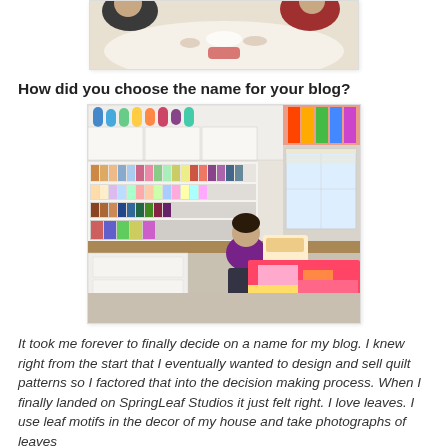[Figure (photo): Partial photo of people sitting at a table, cropped at top of page]
How did you choose the name for your blog?
[Figure (photo): Woman sitting at a sewing/quilting desk in a colorful craft studio filled with organized fabric and supplies]
It took me forever to finally decide on a name for my blog. I knew right from the start that I eventually wanted to design and sell quilt patterns so I factored that into the decision making process. When I finally landed on SpringLeaf Studios it just felt right. I love leaves. I use leaf motifs in the decor of my house and take photographs of leaves